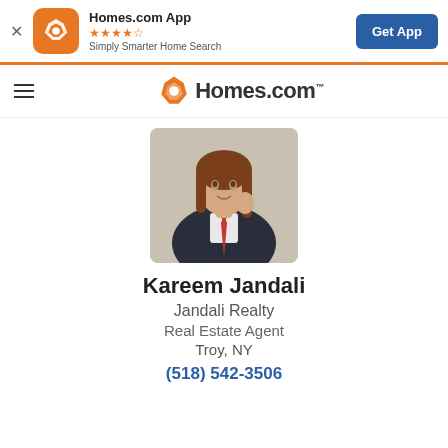[Figure (screenshot): App banner for Homes.com App with orange icon, star rating, tagline, and Get App button]
[Figure (logo): Homes.com navigation bar with hamburger menu and Homes.com logo]
[Figure (photo): Profile photo of real estate agent Kareem Jandali, a person in dark jacket and tie]
Kareem Jandali
Jandali Realty
Real Estate Agent
Troy, NY
(518) 542-3506